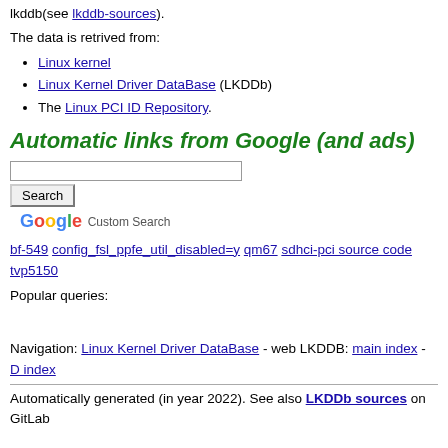This page is automatically generated with lkddb (and a part) software lkddb(see lkddb-sources).
The data is retrived from:
Linux kernel
Linux Kernel Driver DataBase (LKDDb)
The Linux PCI ID Repository.
Automatic links from Google (and ads)
[Figure (other): Google Custom Search box with Search button]
bf-549 config_fsl_ppfe_util_disabled=y qm67 sdhci-pci source code tvp5150
Popular queries:
Navigation: Linux Kernel Driver DataBase - web LKDDB: main index - D index
Automatically generated (in year 2022). See also LKDDb sources on GitLab